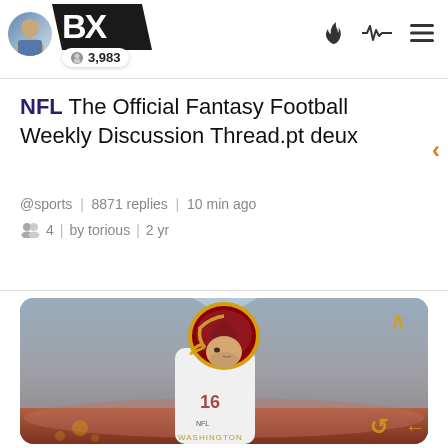BX 3,983
NFL The Official Fantasy Football Weekly Discussion Thread.pt deux
@sports | 8871 replies | 10 min ago
4 | by torious | 2 yr
[Figure (photo): NFL player wearing Washington Commanders helmet and white jersey number 16, standing in front of a stadium background]